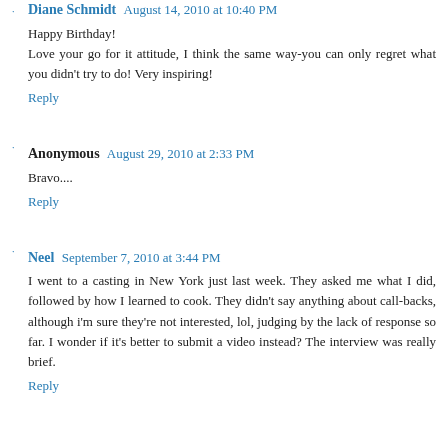Diane Schmidt  August 14, 2010 at 10:40 PM
Happy Birthday!
Love your go for it attitude, I think the same way-you can only regret what you didn't try to do! Very inspiring!
Reply
Anonymous  August 29, 2010 at 2:33 PM
Bravo....
Reply
Neel  September 7, 2010 at 3:44 PM
I went to a casting in New York just last week. They asked me what I did, followed by how I learned to cook. They didn't say anything about call-backs, although i'm sure they're not interested, lol, judging by the lack of response so far. I wonder if it's better to submit a video instead? The interview was really brief.
Reply